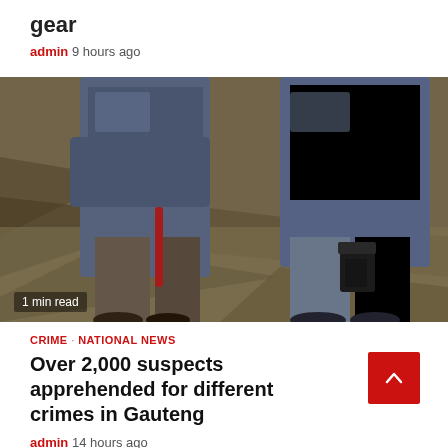gear
admin  9 hours ago
[Figure (photo): Two police officers in blue uniforms walking away from camera on a patterned floor at night, one appears to be holding a baton and has a holster visible]
1 min read
CRIME · NATIONAL NEWS
Over 2,000 suspects apprehended for different crimes in Gauteng
admin  14 hours ago